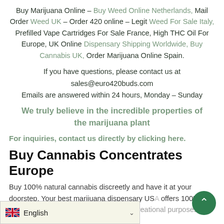Buy Marijuana Online – Buy Weed Online Netherlands, Mail Order Weed UK – Order 420 online – Legit Weed For Sale Italy, Prefilled Vape Cartridges For Sale France, High THC Oil For Europe, UK Online Dispensary Shipping Worldwide, Buy Cannabis UK, Order Marijuana Online Spain.
If you have questions, please contact us at sales@euro420buds.com Emails are answered within 24 hours, Monday – Sunday
We truly believe in the incredible properties of the marijuana plant
For inquiries, contact us directly by clicking here.
Buy Cannabis Concentrates Europe
Buy 100% natural cannabis discreetly and have it at your doorstep. Your best marijuana dispensary USA offers 100% natural cannabis. Vape pens and med... creational purposes!